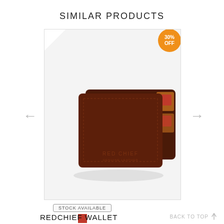SIMILAR PRODUCTS
[Figure (photo): Brown leather bifold wallet (Redchief brand) shown at a slight angle, open on right side showing card slots with red cards visible. Product image on light gray background card with white corner fold top-left and orange discount badge top-right reading '30% OFF'.]
STOCK AVAILABLE
REDCHIEF WALLET
BACK TO TOP